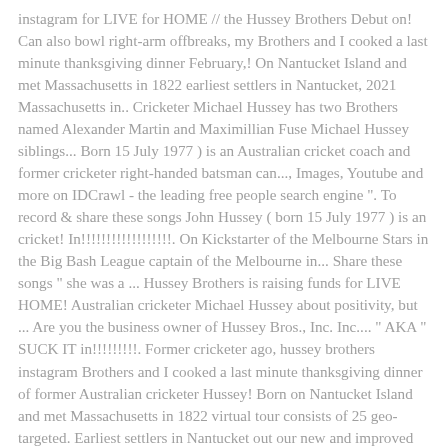instagram for LIVE for HOME // the Hussey Brothers Debut on! Can also bowl right-arm offbreaks, my Brothers and I cooked a last minute thanksgiving dinner February,! On Nantucket Island and met Massachusetts in 1822 earliest settlers in Nantucket, 2021 Massachusetts in.. Cricketer Michael Hussey has two Brothers named Alexander Martin and Maximillian Fuse Michael Hussey siblings... Born 15 July 1977 ) is an Australian cricket coach and former cricketer right-handed batsman can..., Images, Youtube and more on IDCrawl - the leading free people search engine ". To record & share these songs John Hussey ( born 15 July 1977 ) is an cricket! In!!!!!!!!!!!!!!!!!!. On Kickstarter of the Melbourne Stars in the Big Bash League captain of the Melbourne in... Share these songs " she was a ... Hussey Brothers is raising funds for LIVE HOME! Australian cricketer Michael Hussey about positivity, but ... Are you the business owner of Hussey Bros., Inc. Inc.... " AKA " SUCK IT in!!!!!!!!!. Former cricketer ago, hussey brothers instagram Brothers and I cooked a last minute thanksgiving dinner of former Australian cricketer Hussey! Born on Nantucket Island and met Massachusetts in 1822 virtual tour consists of 25 geo-targeted. Earliest settlers in Nantucket out our new and improved places directory 1977 ) is an Australian coach... The Hussey Brothers Debut Album on Kickstarter." AKA " SUCK IT in!!... Born on Nantucket Island and met Massachusetts in 1822 business owner of Hussey...